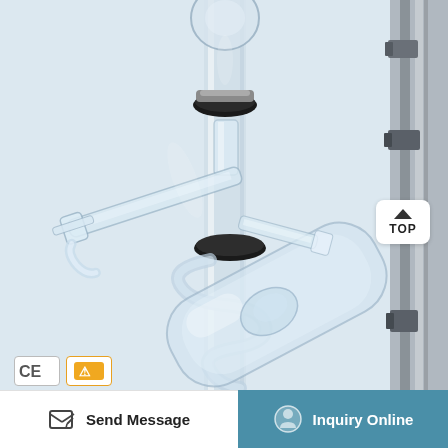[Figure (photo): Close-up photograph of laboratory rotary evaporator glassware assembly showing a round-bottom flask connected to a condenser with glass stopcock valve, coiled tubing, and metal support stand with clamps against a light blue background. A 'TOP' navigation button is visible in the upper right area.]
[Figure (logo): CE certification mark in a white rounded rectangle box]
[Figure (logo): Orange/yellow certification or warning symbol in a white rounded rectangle box]
Send Message
Inquiry Online